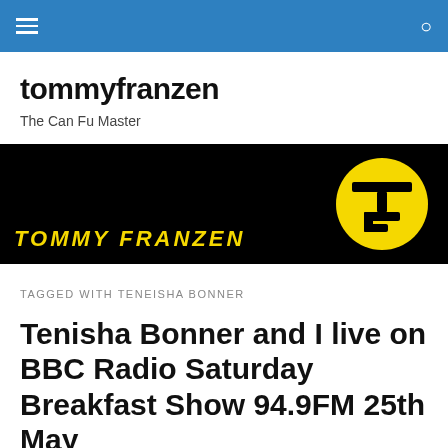tommyfranzen – navigation bar
tommyfranzen
The Can Fu Master
[Figure (logo): Tommy Franzen banner: black background with 'TOMMY FRANZEN' in bold yellow italic text on the left and a yellow circle logo with a stylized TF monogram on the right.]
TAGGED WITH TENEISHA BONNER
Tenisha Bonner and I live on BBC Radio Saturday Breakfast Show 94.9FM 25th May